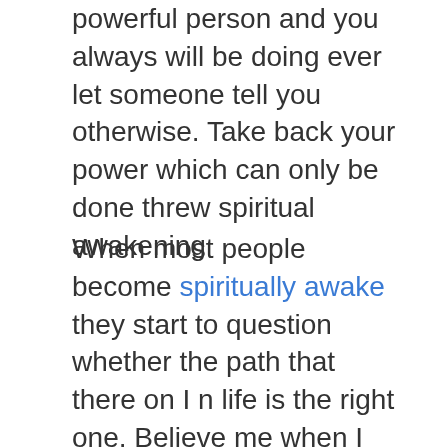powerful person and you always will be doing ever let someone tell you otherwise. Take back your power which can only be done threw spiritual awakening
When most people become spiritually awake they start to question whether the path that there on I n life is the right one. Believe me when I tell you life is 10x better when your awake and opened to this reality because you can start to see who in your life is bringing you down and who is bringing you up. Naturally you'll start to spend more and more time with people who bring you up over people who bring you down and this